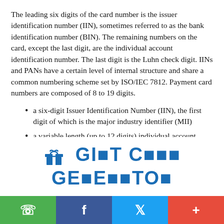The leading six digits of the card number is the issuer identification number (IIN), sometimes referred to as the bank identification number (BIN). The remaining numbers on the card, except the last digit, are the individual account identification number. The last digit is the Luhn check digit. IINs and PANs have a certain level of internal structure and share a common numbering scheme set by ISO/IEC 7812. Payment card numbers are composed of 8 to 19 digits.
a six-digit Issuer Identification Number (IIN), the first digit of which is the major industry identifier (MII)
a variable length (up to 12 digits) individual account identifier
a single check digit calculated using the Luhn algorithm
[Figure (infographic): Gift card generator advertisement with gift box icon and text 'GIFT CARD GENERATOR' in blue on white background]
Social share bar with WhatsApp, Facebook, Twitter, and plus buttons